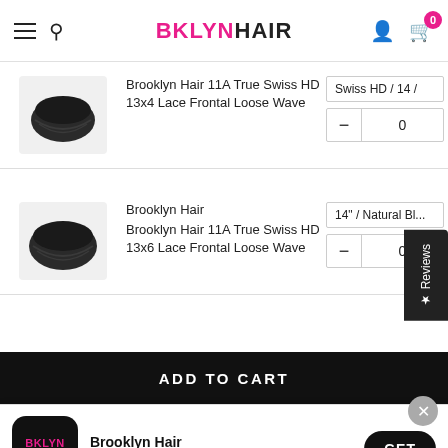BKLYNHAIR
Brooklyn Hair 11A True Swiss HD 13x4 Lace Frontal Loose Wave
Swiss HD / 14 /
0
Brooklyn Hair
Brooklyn Hair 11A True Swiss HD 13x6 Lace Frontal Loose Wave
14" / Natural Bl...
0
ADD TO CART
Brooklyn Hair
Download our app. Save 40%
GET